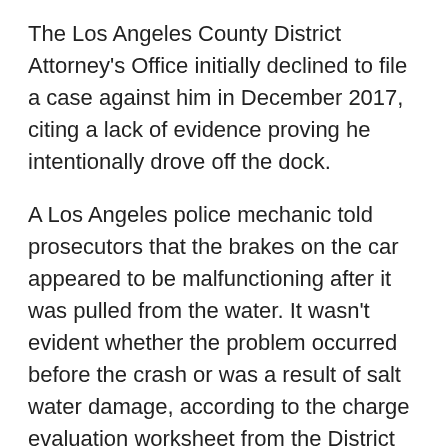The Los Angeles County District Attorney's Office initially declined to file a case against him in December 2017, citing a lack of evidence proving he intentionally drove off the dock.
A Los Angeles police mechanic told prosecutors that the brakes on the car appeared to be malfunctioning after it was pulled from the water. It wasn't evident whether the problem occurred before the crash or was a result of salt water damage, according to the charge evaluation worksheet from the District Attorney's Office.
But further investigation by the Los Angeles Police Department's Harbor and Robbery-Homicide divisions and the Los Angeles City Attorney's Office resulted in the filing of the latest charges, according to the District